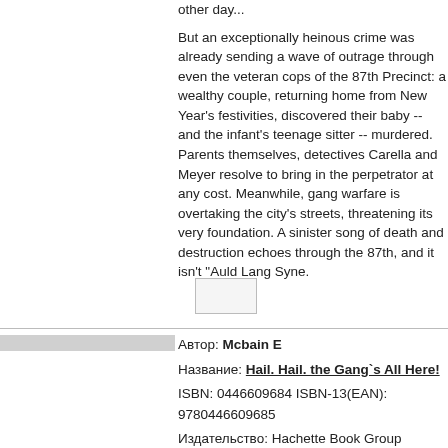other day...

But an exceptionally heinous crime was already sending a wave of outrage through even the veteran cops of the 87th Precinct: a wealthy couple, returning home from New Year's festivities, discovered their baby -- and the infant's teenage sitter -- murdered. Parents themselves, detectives Carella and Meyer resolve to bring in the perpetrator at any cost. Meanwhile, gang warfare is overtaking the city's streets, threatening its very foundation. A sinister song of death and destruction echoes through the 87th, and it isn't "Auld Lang Syne."
Автор: Mcbain E
Название: Hail. Hail. the Gang`s All Here!
ISBN: 0446609684 ISBN-13(EAN): 9780446609685
Издательство: Hachette Book Group
Цена: 677 р.
Наличие на складе: Невозможна поставка.

Описание: Detective Steve Carella attempts to find out who killed a nude dancer, bombed a ghetto church, murdered a local reside...